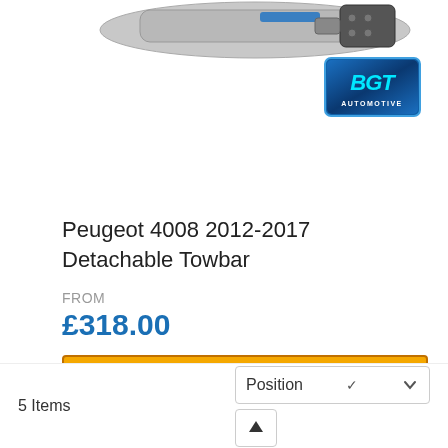[Figure (photo): Partial view of a detachable towbar product at top of page, with BGT Automotive brand logo in blue.]
Peugeot 4008 2012-2017 Detachable Towbar
FROM
£318.00
Add to Cart
5 Items
Position